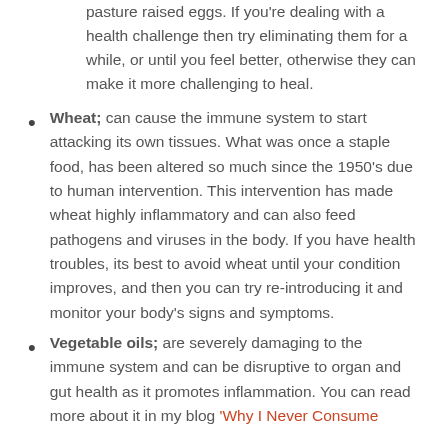pasture raised eggs. If you're dealing with a health challenge then try eliminating them for a while, or until you feel better, otherwise they can make it more challenging to heal.
Wheat; can cause the immune system to start attacking its own tissues. What was once a staple food, has been altered so much since the 1950's due to human intervention. This intervention has made wheat highly inflammatory and can also feed pathogens and viruses in the body. If you have health troubles, its best to avoid wheat until your condition improves, and then you can try re-introducing it and monitor your body's signs and symptoms.
Vegetable oils; are severely damaging to the immune system and can be disruptive to organ and gut health as it promotes inflammation. You can read more about it in my blog 'Why I Never Consume